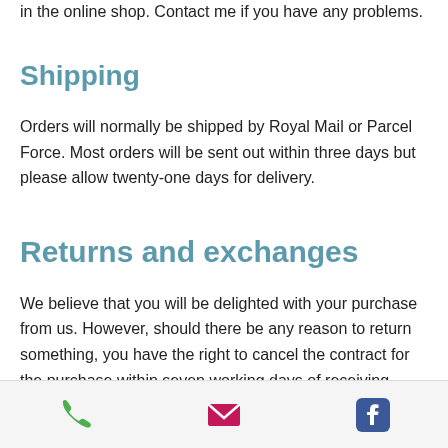in the online shop. Contact me if you have any problems.
Shipping
Orders will normally be shipped by Royal Mail or Parcel Force. Most orders will be sent out within three days but please allow twenty-one days for delivery.
Returns and exchanges
We believe that you will be delighted with your purchase from us. However, should there be any reason to return something, you have the right to cancel the contract for the purchase within seven working days of receiving delivery.
[Figure (other): Footer bar with phone icon (green), email icon (pink/magenta), and Facebook icon (blue)]